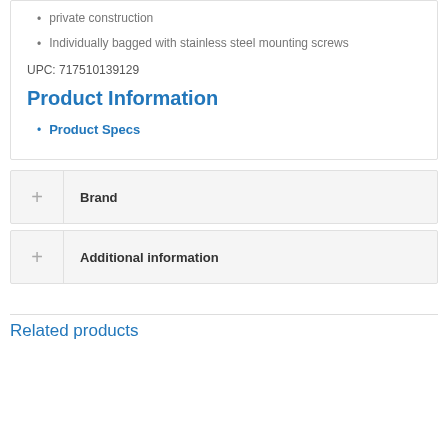private construction
Individually bagged with stainless steel mounting screws
UPC: 717510139129
Product Information
Product Specs
Brand
Additional information
Related products